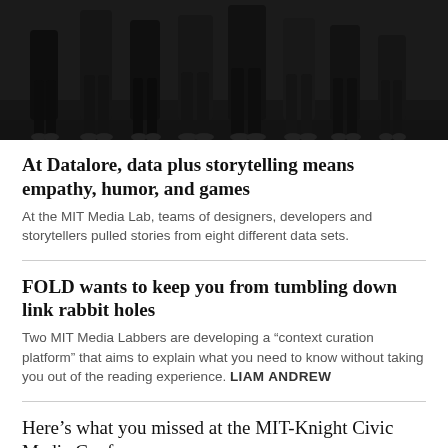[Figure (photo): Group of people (lower bodies visible) standing together, dark background, appears to be an indoor or outdoor event photo]
At Datalore, data plus storytelling means empathy, humor, and games
At the MIT Media Lab, teams of designers, developers and storytellers pulled stories from eight different data sets.
FOLD wants to keep you from tumbling down link rabbit holes
Two MIT Media Labbers are developing a “context curation platform” that aims to explain what you need to know without taking you out of the reading experience. LIAM ANDREW
Here’s what you missed at the MIT-Knight Civic Media Conference